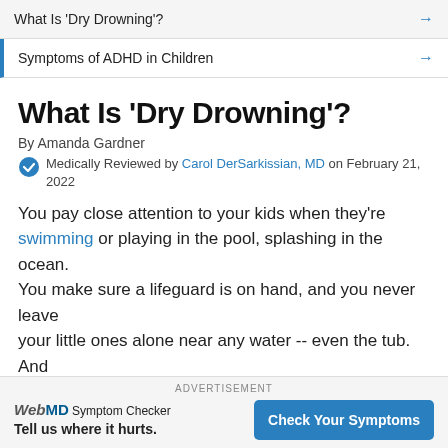What Is 'Dry Drowning'? →
Symptoms of ADHD in Children →
What Is 'Dry Drowning'?
By Amanda Gardner
Medically Reviewed by Carol DerSarkissian, MD on February 21, 2022
You pay close attention to your kids when they're swimming or playing in the pool, splashing in the ocean. You make sure a lifeguard is on hand, and you never leave your little ones alone near any water -- even the tub. And
ADVERTISEMENT
WebMD Symptom Checker
Tell us where it hurts. Check Your Symptoms